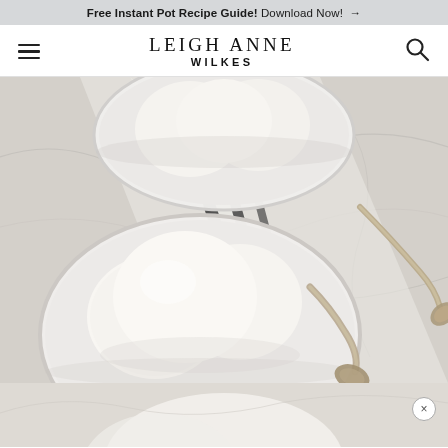Free Instant Pot Recipe Guide! Download Now! →
LEIGH ANNE WILKES
[Figure (photo): Overhead view of two white ceramic bowls containing scoops of vanilla ice cream, placed on a marble surface with a white and dark grey striped linen towel. A vintage silver spoon rests in the foreground bowl.]
[Figure (photo): Partial bottom image showing what appears to be a continuation of the ice cream or dessert photo, partially cropped with a close button overlay.]